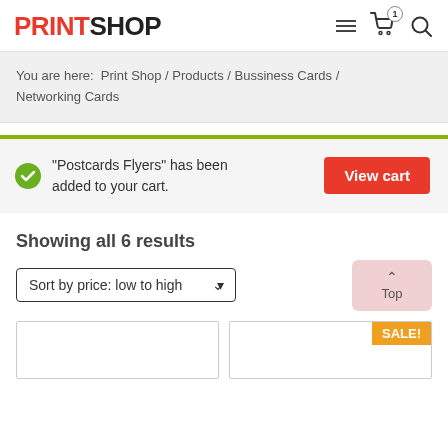PRINTSHOP
You are here: Print Shop / Products / Bussiness Cards / Networking Cards
"Postcards Flyers" has been added to your cart.
View cart
Showing all 6 results
Sort by price: low to high
Top